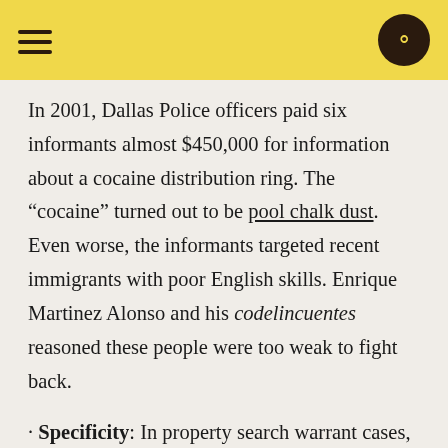In 2001, Dallas Police officers paid six informants almost $450,000 for information about a cocaine distribution ring. The “cocaine” turned out to be pool chalk dust. Even worse, the informants targeted recent immigrants with poor English skills. Enrique Martinez Alonso and his codelincuentes reasoned these people were too weak to fight back.
· Specificity: In property search warrant cases, this factor is very important. “Ridgemar